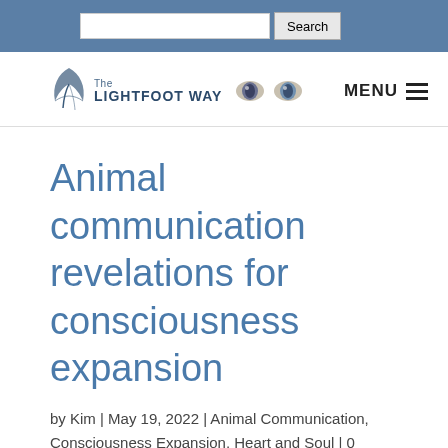Search
[Figure (logo): The Lightfoot Way logo with leaf emblem and stylized cat eyes, with MENU navigation button]
Animal communication revelations for consciousness expansion
by Kim | May 19, 2022 | Animal Communication, Consciousness Expansion, Heart and Soul | 0 comments